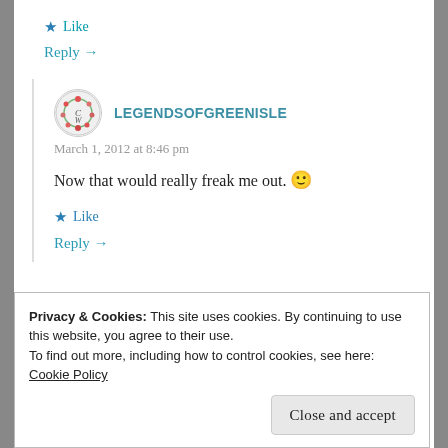★ Like
Reply →
LEGENDSOFGREENISLE
March 1, 2012 at 8:46 pm
Now that would really freak me out. 🙂
★ Like
Reply →
Privacy & Cookies: This site uses cookies. By continuing to use this website, you agree to their use.
To find out more, including how to control cookies, see here: Cookie Policy
Close and accept